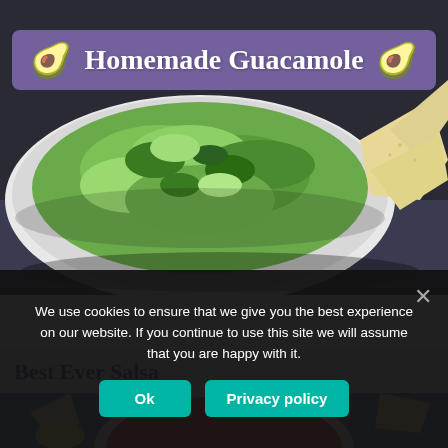[Figure (photo): Bowl of homemade guacamole with tortilla chips on the side, viewed from above on a dark background]
🥑 Homemade Guacamole 🥑
Best Ever Salsa
[Figure (photo): Bowl of red salsa with tortilla chips and lemon on a blue checkered tablecloth]
We use cookies to ensure that we give you the best experience on our website. If you continue to use this site we will assume that you are happy with it.